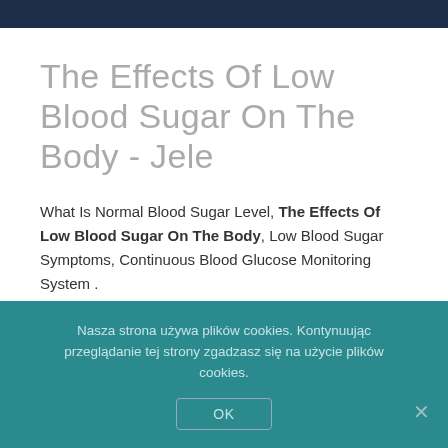The Effects Of Low Blood Sugar On The Body - Jele
What Is Normal Blood Sugar Level, The Effects Of Low Blood Sugar On The Body, Low Blood Sugar Symptoms, Continuous Blood Glucose Monitoring System. It can even trigger the production of
Nasza strona używa plików cookies. Kontynuując przeglądanie tej strony zgadzasz się na użycie plików cookies.
OK